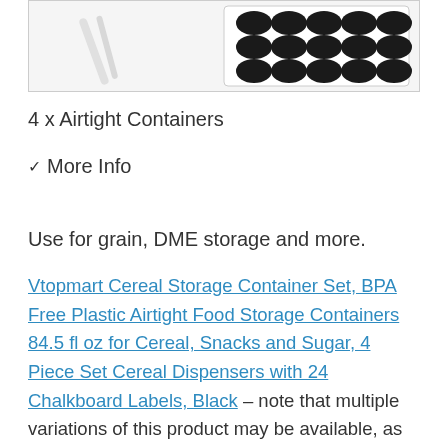[Figure (photo): Product image showing airtight containers and chalkboard labels on a white background]
4 x Airtight Containers
✔ More Info
Use for grain, DME storage and more.
Vtopmart Cereal Storage Container Set, BPA Free Plastic Airtight Food Storage Containers 84.5 fl oz for Cereal, Snacks and Sugar, 4 Piece Set Cereal Dispensers with 24 Chalkboard Labels, Black – note that multiple variations of this product may be available, as such a different version may appear at this link.